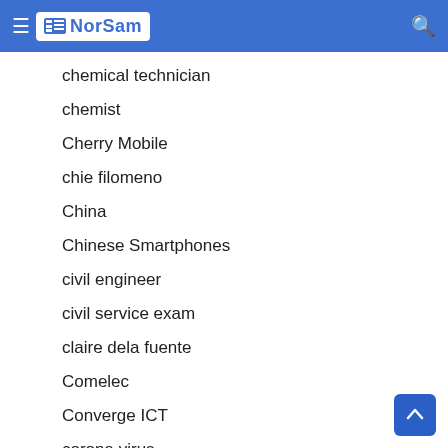NorSam
chemical technician
chemist
Cherry Mobile
chie filomeno
China
Chinese Smartphones
civil engineer
civil service exam
claire dela fuente
Comelec
Converge ICT
corona virus